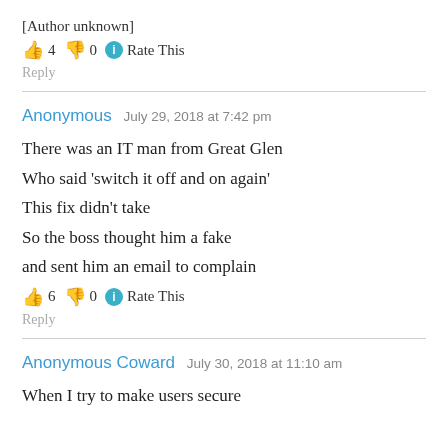[Author unknown]
👍 4 👎 0 ℹ Rate This
Reply
Anonymous   July 29, 2018 at 7:42 pm
There was an IT man from Great Glen
Who said 'switch it off and on again'
This fix didn't take
So the boss thought him a fake
and sent him an email to complain
👍 6 👎 0 ℹ Rate This
Reply
Anonymous Coward   July 30, 2018 at 11:10 am
When I try to make users secure